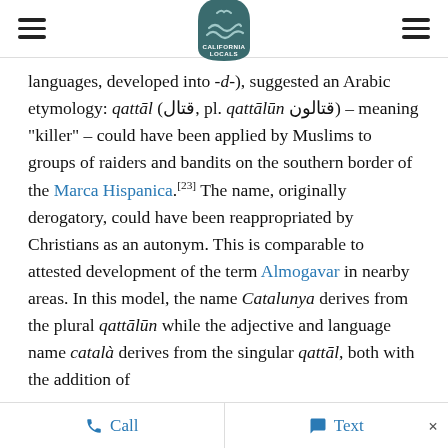California Locals logo with hamburger menu icons
languages, developed into -d-), suggested an Arabic etymology: qattāl (قتال, pl. qattālūn قتالون) – meaning "killer" – could have been applied by Muslims to groups of raiders and bandits on the southern border of the Marca Hispanica.[23] The name, originally derogatory, could have been reappropriated by Christians as an autonym. This is comparable to attested development of the term Almogavar in nearby areas. In this model, the name Catalunya derives from the plural qattālūn while the adjective and language name català derives from the singular qattāl, both with the addition of
Call   Text